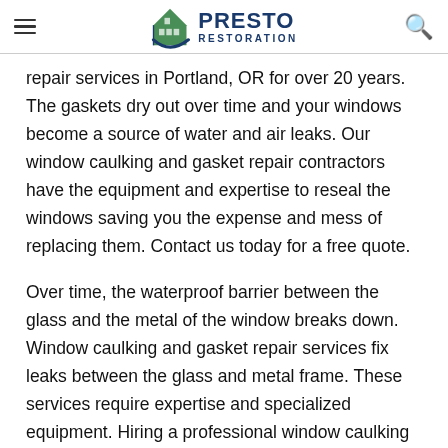Presto Restoration
repair services in Portland, OR for over 20 years. The gaskets dry out over time and your windows become a source of water and air leaks. Our window caulking and gasket repair contractors have the equipment and expertise to reseal the windows saving you the expense and mess of replacing them. Contact us today for a free quote.
Over time, the waterproof barrier between the glass and the metal of the window breaks down. Window caulking and gasket repair services fix leaks between the glass and metal frame. These services require expertise and specialized equipment. Hiring a professional window caulking and gasket repair services company is the only way to ensure the repairs